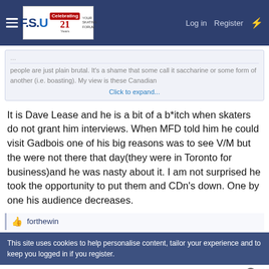FSU forum navigation bar with Log in, Register links
people are just plain brutal. It's a shame that some call it saccharine or some form of another (i.e. boasting). My view is these Canadian
Click to expand...
It is Dave Lease and he is a bit of a b*itch when skaters do not grant him interviews. When MFD told him he could visit Gadbois one of his big reasons was to see V/M but the were not there that day(they were in Toronto for business)and he was nasty about it. I am not surprised he took the opportunity to put them and CDn's down. One by one his audience decreases.
👍 forthewin
This site uses cookies to help personalise content, tailor your experience and to keep you logged in if you register.
Official NFL Gear
Get Your Favorite Team's Gear Here
www.nflshop.com